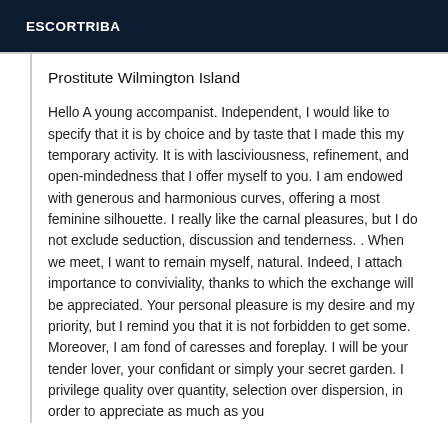ESCORTRIBA
Prostitute Wilmington Island
Hello A young accompanist. Independent, I would like to specify that it is by choice and by taste that I made this my temporary activity. It is with lasciviousness, refinement, and open-mindedness that I offer myself to you. I am endowed with generous and harmonious curves, offering a most feminine silhouette. I really like the carnal pleasures, but I do not exclude seduction, discussion and tenderness. . When we meet, I want to remain myself, natural. Indeed, I attach importance to conviviality, thanks to which the exchange will be appreciated. Your personal pleasure is my desire and my priority, but I remind you that it is not forbidden to get some. Moreover, I am fond of caresses and foreplay. I will be your tender lover, your confidant or simply your secret garden. I privilege quality over quantity, selection over dispersion, in order to appreciate as much as you